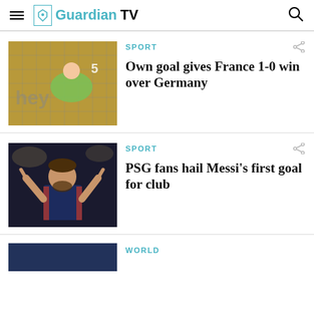GuardianTV
[Figure (photo): Goalkeeper diving to save a shot, net and stadium crowd visible in background]
SPORT
Own goal gives France 1-0 win over Germany
[Figure (photo): Lionel Messi in PSG dark blue jersey, arms raised pointing upward, celebrating]
SPORT
PSG fans hail Messi's first goal for club
[Figure (photo): Partial view of a photo at bottom of page]
WORLD